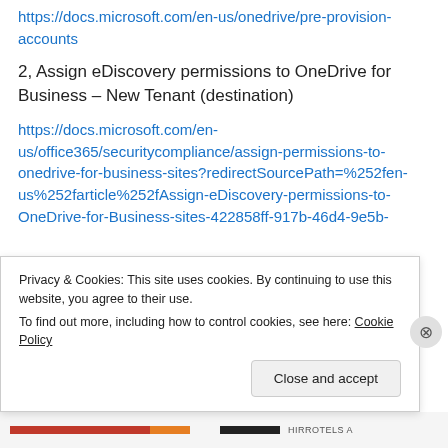https://docs.microsoft.com/en-us/onedrive/pre-provision-accounts
2, Assign eDiscovery permissions to OneDrive for Business – New Tenant (destination)
https://docs.microsoft.com/en-us/office365/securitycompliance/assign-permissions-to-onedrive-for-business-sites?redirectSourcePath=%252fen-us%252farticle%252fAssign-eDiscovery-permissions-to-OneDrive-for-Business-sites-422858ff-917b-46d4-9e5b-
Privacy & Cookies: This site uses cookies. By continuing to use this website, you agree to their use.
To find out more, including how to control cookies, see here: Cookie Policy
Close and accept